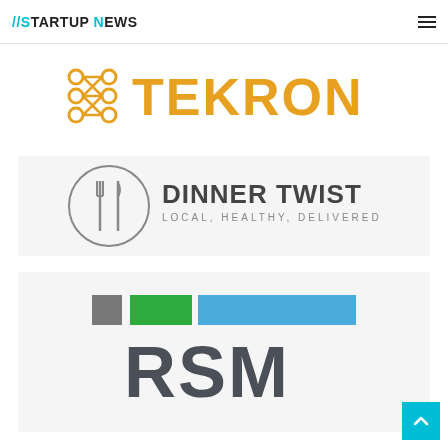//STARTUP NEWS
[Figure (logo): TEKRON logo: orange network/nodes icon on left, large orange bold text TEKRON on right]
[Figure (logo): Dinner Twist logo: circular icon with fork and knife inside, text DINNER TWIST with tagline LOCAL, HEALTHY, DELIVERED]
[Figure (logo): RSM logo: gray square, green rectangle, blue wide rectangle arranged in a row above large dark gray RSM text]
[Figure (other): Scroll-to-top button: cyan/blue square with white upward chevron arrow]